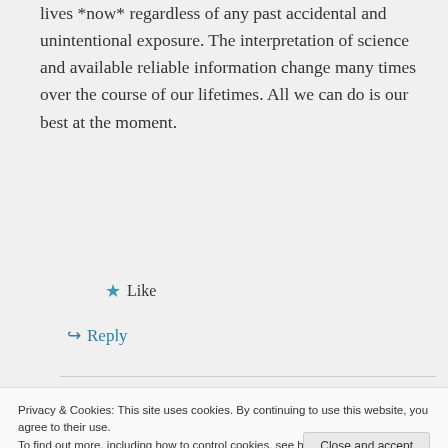lives *now* regardless of any past accidental and unintentional exposure. The interpretation of science and available reliable information change many times over the course of our lifetimes. All we can do is our best at the moment.
★ Like
↪ Reply
Privacy & Cookies: This site uses cookies. By continuing to use this website, you agree to their use.
To find out more, including how to control cookies, see here: Cookie Policy
Close and accept
many.